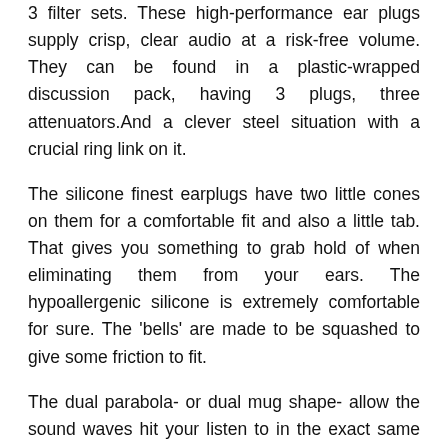3 filter sets. These high-performance ear plugs supply crisp, clear audio at a risk-free volume. They can be found in a plastic-wrapped discussion pack, having 3 plugs, three attenuators.And a clever steel situation with a crucial ring link on it.
The silicone finest earplugs have two little cones on them for a comfortable fit and also a little tab. That gives you something to grab hold of when eliminating them from your ears. The hypoallergenic silicone is extremely comfortable for sure. The 'bells' are made to be squashed to give some friction to fit.
The dual parabola- or dual mug shape- allow the sound waves hit your listen to in the exact same form as. If you were not wearing earplugs, to deliver far better high quality noise. Due to the fact that they're small. And also very easy to shed, they can be found in trines so that you have a spare. They have their very own steel tube carrying situation on the end of a keychain. So you can always have them accessible. They are multiple-use, comfortable, discreet, and also they are multiple-use and also it